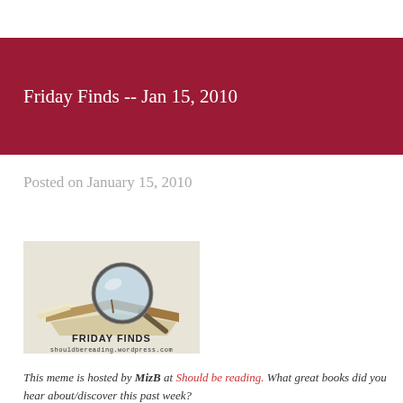Friday Finds -- Jan 15, 2010
Posted on January 15, 2010
[Figure (illustration): Friday Finds logo: a magnifying glass over an open book with text 'FRIDAY FINDS' and 'shouldbereading.wordpress.com']
This meme is hosted by MizB at Should be reading. What great books did you hear about/discover this past week?